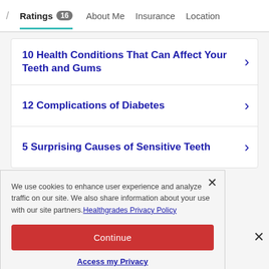/ Ratings 16  About Me  Insurance  Location
10 Health Conditions That Can Affect Your Teeth and Gums
12 Complications of Diabetes
5 Surprising Causes of Sensitive Teeth
We use cookies to enhance user experience and analyze traffic on our site. We also share information about your use with our site partners. Healthgrades Privacy Policy
Continue
Access my Privacy Preferences
Care Philosophy